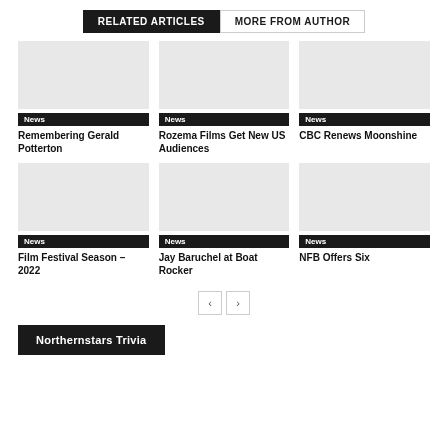RELATED ARTICLES | MORE FROM AUTHOR
[Figure (screenshot): Placeholder image for Remembering Gerald Potterton article]
News
Remembering Gerald Potterton
[Figure (screenshot): Placeholder image for Rozema Films Get New US Audiences article]
News
Rozema Films Get New US Audiences
[Figure (screenshot): Placeholder image for CBC Renews Moonshine article]
News
CBC Renews Moonshine
[Figure (screenshot): Placeholder image for Film Festival Season – 2022 article]
News
Film Festival Season – 2022
[Figure (screenshot): Placeholder image for Jay Baruchel at Boat Rocker article]
News
Jay Baruchel at Boat Rocker
[Figure (screenshot): Placeholder image for NFB Offers Six article]
News
NFB Offers Six
< >
Northernstars Trivia